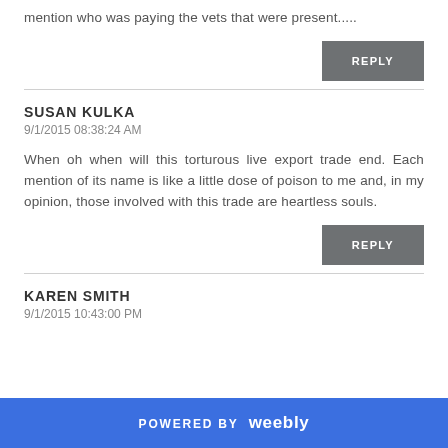mention who was paying the vets that were present.....
REPLY
SUSAN KULKA
9/1/2015 08:38:24 AM
When oh when will this torturous live export trade end. Each mention of its name is like a little dose of poison to me and, in my opinion, those involved with this trade are heartless souls.
REPLY
KAREN SMITH
9/1/2015 10:43:00 PM
POWERED BY weebly